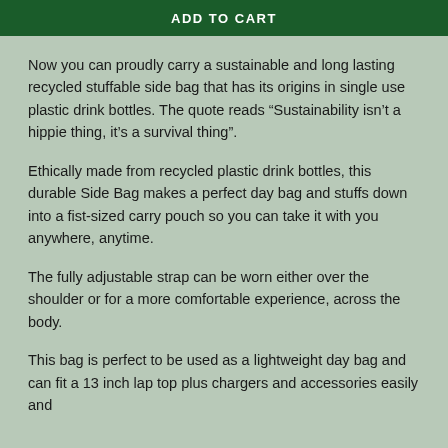ADD TO CART
Now you can proudly carry a sustainable and long lasting recycled stuffable side bag that has its origins in single use plastic drink bottles. The quote reads “Sustainability isn’t a hippie thing, it’s a survival thing”.
Ethically made from recycled plastic drink bottles, this durable Side Bag makes a perfect day bag and stuffs down into a fist-sized carry pouch so you can take it with you anywhere, anytime.
The fully adjustable strap can be worn either over the shoulder or for a more comfortable experience, across the body.
This bag is perfect to be used as a lightweight day bag and can fit a 13 inch lap top plus chargers and accessories easily and